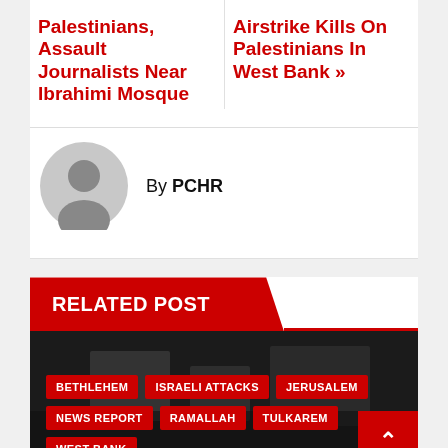Palestinians, Assault Journalists Near Ibrahimi Mosque
Airstrike Kills On Palestinians In West Bank »
By PCHR
RELATED POST
[Figure (photo): Dark background image with news article tags overlaid at the bottom. Tags: BETHLEHEM, ISRAELI ATTACKS, JERUSALEM, NEWS REPORT, RAMALLAH, TULKAREM, WEST BANK. Red scroll-to-top button on bottom right.]